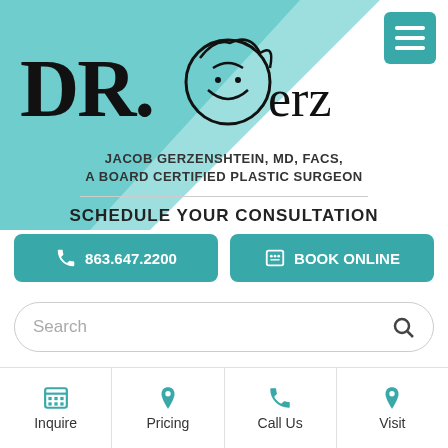[Figure (logo): Dr. Gerzenshtein logo with stylized face icon and serif text]
JACOB GERZENSHTEIN, MD, FACS, A BOARD CERTIFIED PLASTIC SURGEON
SCHEDULE YOUR CONSULTATION
📞 863.647.2200
BOOK ONLINE
Search
Are there any
Inquire
Pricing
Call Us
Visit